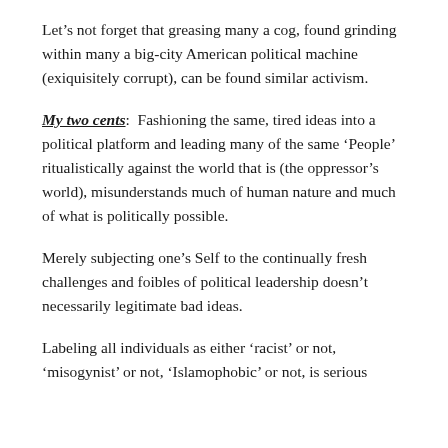Let's not forget that greasing many a cog, found grinding within many a big-city American political machine (exiquisitely corrupt), can be found similar activism.
My two cents:  Fashioning the same, tired ideas into a political platform and leading many of the same 'People' ritualistically against the world that is (the oppressor's world), misunderstands much of human nature and much of what is politically possible.
Merely subjecting one's Self to the continually fresh challenges and foibles of political leadership doesn't necessarily legitimate bad ideas.
Labeling all individuals as either 'racist' or not, 'misogynist' or not, 'Islamophobic' or not, is serious